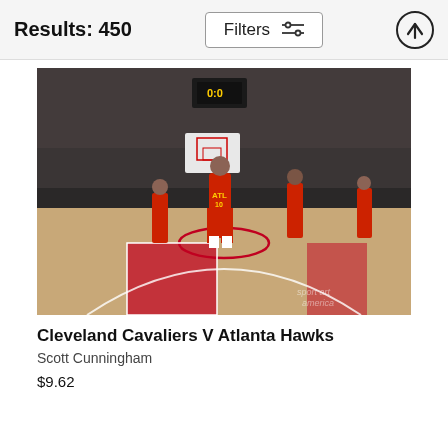Results: 450
Filters
[Figure (photo): NBA basketball game photo: Atlanta Hawks player number 10 in red uniform standing on court after game, crowd in background, other players visible. Watermark reads 'sport art america']
Cleveland Cavaliers V Atlanta Hawks
Scott Cunningham
$9.62